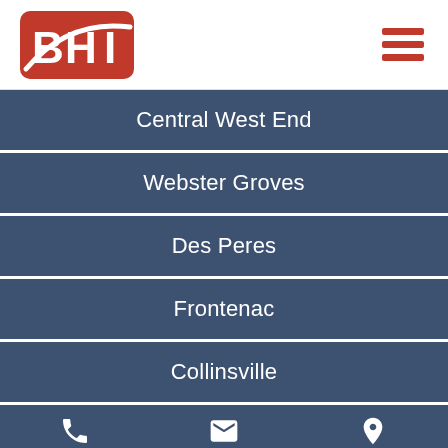[Figure (logo): BHI logo — red rounded rectangle with white BHI letters and a white swoosh]
Central West End
Webster Groves
Des Peres
Frontenac
Collinsville
Call Us   Email Us   Get Directions